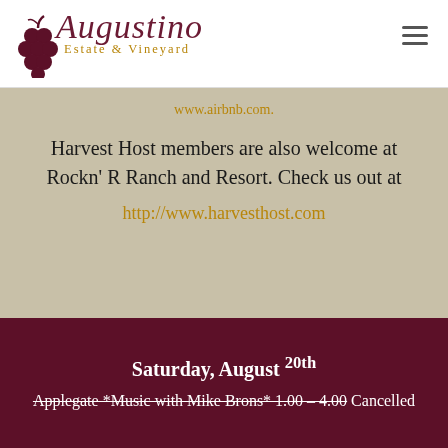[Figure (logo): Augustino Estate & Vineyard logo with grape cluster icon and script lettering]
www.airbnb.com.
Harvest Host members are also welcome at Rockn' R Ranch and Resort. Check us out at http://www.harvesthost.com
Saturday, August 20th
Applegate *Music with Mike Brons* 1.00 – 4.00 Cancelled